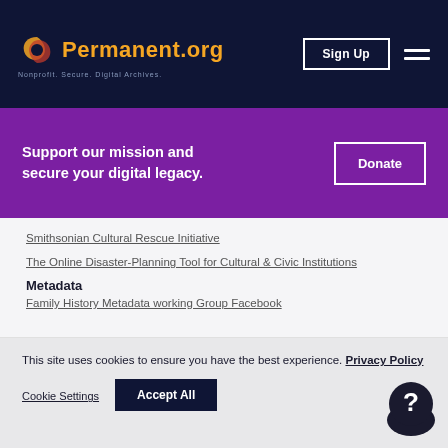Permanent.org — Nonprofit. Secure. Digital Archives.
Support our mission and secure your digital legacy.
Smithsonian Cultural Rescue Initiative
The Online Disaster-Planning Tool for Cultural & Civic Institutions
Metadata
Family History Metadata working Group Facebook
This site uses cookies to ensure you have the best experience. Privacy Policy
Cookie Settings
Accept All